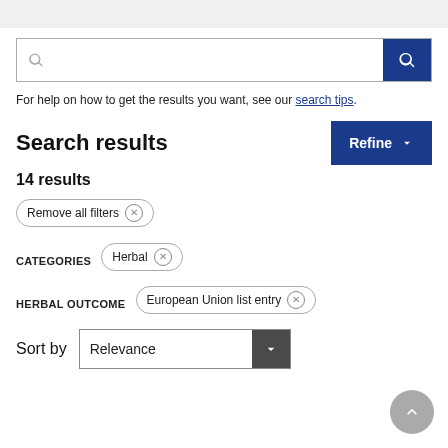[Figure (screenshot): Search input box with magnifying glass icon on left and blue search button on right]
For help on how to get the results you want, see our search tips.
Search results
14 results
Remove all filters ⊗
CATEGORIES  Herbal ⊗
HERBAL OUTCOME  European Union list entry ⊗
Sort by  Relevance